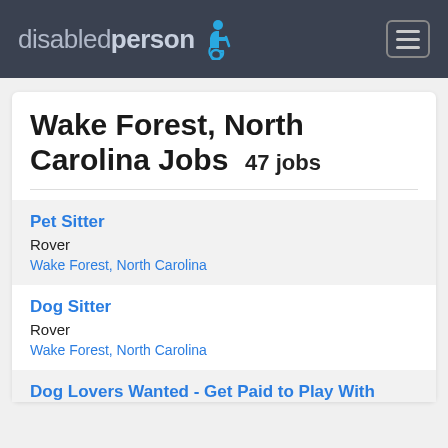disabledperson [wheelchair icon] [hamburger menu]
Wake Forest, North Carolina Jobs  47 jobs
Pet Sitter
Rover
Wake Forest, North Carolina
Dog Sitter
Rover
Wake Forest, North Carolina
Dog Lovers Wanted - Get Paid to Play With Dogs